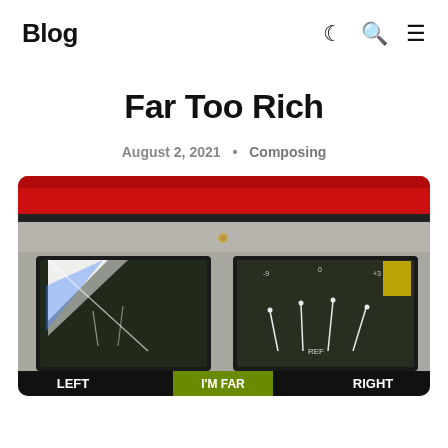Blog
Far Too Rich
August 2, 2021 • Composing
[Figure (photo): Close-up photo of vintage audio mixing equipment/VU meters with red top panel, showing LEFT, I'M FAR, RIGHT labels at the bottom. Left meter has bright light reflection, right meter shows needle indicators with REF label. Colorful meter panels with black frames.]